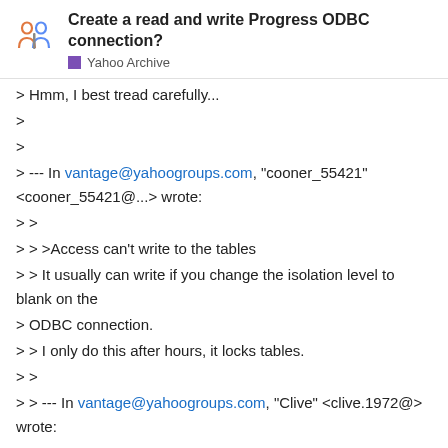Create a read and write Progress ODBC connection? | Yahoo Archive
> Hmm, I best tread carefully...
>
>
> --- In vantage@yahoogroups.com, "cooner_55421" <cooner_55421@...> wrote:
> >
> > >Access can't write to the tables
> > It usually can write if you change the isolation level to blank on the
> ODBC connection.
> > I only do this after hours, it locks tables.
> >
> > --- In vantage@yahoogroups.com, "Clive" <clive.1972@> wrote:
> > >
> > > All computers already have a system DSN setup using just this
> users/pass, however it's read only (or at least Access can't write to the